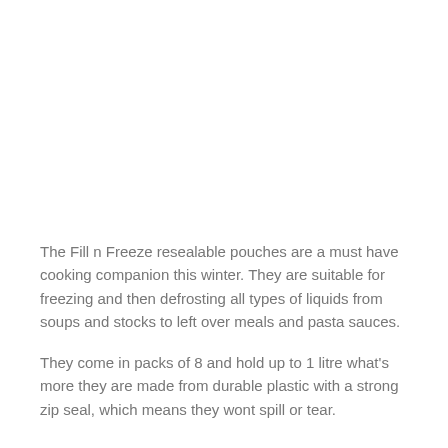The Fill n Freeze resealable pouches are a must have cooking companion this winter. They are suitable for freezing and then defrosting all types of liquids from soups and stocks to left over meals and pasta sauces.
They come in packs of 8 and hold up to 1 litre what's more they are made from durable plastic with a strong zip seal, which means they wont spill or tear.